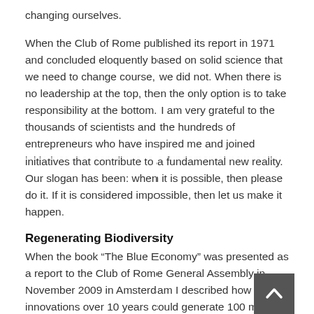changing ourselves.
When the Club of Rome published its report in 1971 and concluded eloquently based on solid science that we need to change course, we did not. When there is no leadership at the top, then the only option is to take responsibility at the bottom. I am very grateful to the thousands of scientists and the hundreds of entrepreneurs who have inspired me and joined initiatives that contribute to a fundamental new reality. Our slogan has been: when it is possible, then please do it. If it is considered impossible, then let us make it happen.
Regenerating Biodiversity
When the book “The Blue Economy” was presented as a report to the Club of Rome General Assembly in November 2009 in Amsterdam I described how 100 innovations over 10 years could generate 100 million jobs. That was a bold statement. We have fallen short on the jobs, but have doubled the number of innovations. For example: we are